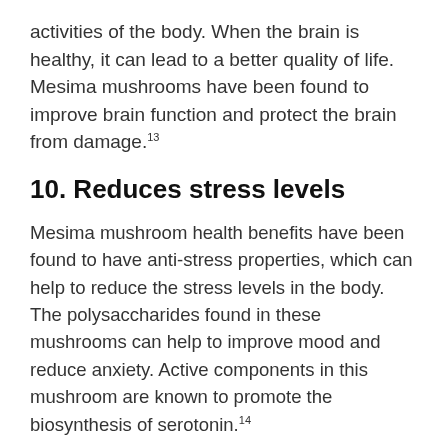activities of the body. When the brain is healthy, it can lead to a better quality of life. Mesima mushrooms have been found to improve brain function and protect the brain from damage.13
10. Reduces stress levels
Mesima mushroom health benefits have been found to have anti-stress properties, which can help to reduce the stress levels in the body. The polysaccharides found in these mushrooms can help to improve mood and reduce anxiety. Active components in this mushroom are known to promote the biosynthesis of serotonin.14
Related: 6 Adaptogenic Shrooms for Anxiety and Stress